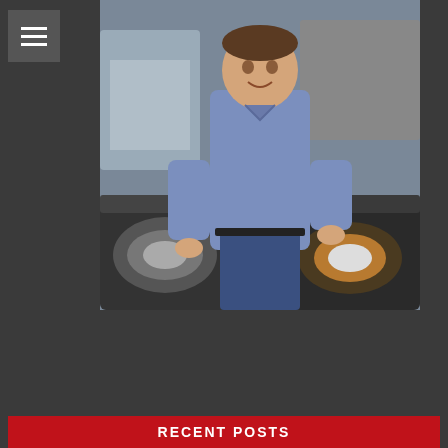[Figure (photo): A man in a blue collared shirt standing between two cars in a parking lot or junkyard, leaning on the hoods of the vehicles. Background shows additional vehicles.]
RECENT POSTS